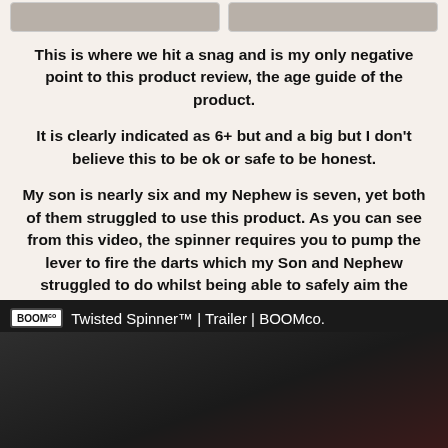[Figure (photo): Two cropped photo cards at top of page showing children's hands]
This is where we hit a snag and is my only negative point to this product review, the age guide of the product.
It is clearly indicated as 6+ but and a big but I don't believe this to be ok or safe to be honest.
My son is nearly six and my Nephew is seven, yet both of them struggled to use this product. As you can see from this video, the spinner requires you to pump the lever to fire the darts which my Son and Nephew struggled to do whilst being able to safely aim the twisted at the target.
[Figure (screenshot): Video thumbnail for 'Twisted Spinner™ | Trailer | BOOMco.' showing dark background with child]